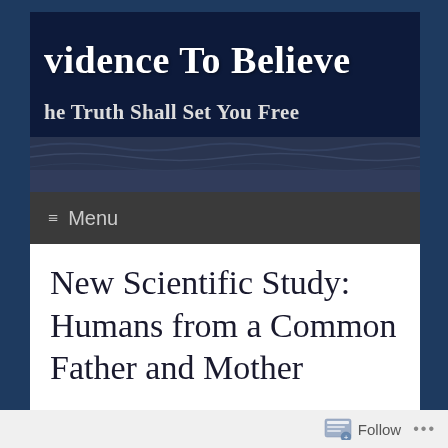vidence To Believe
he Truth Shall Set You Free
≡ Menu
New Scientific Study: Humans from a Common Father and Mother
Follow